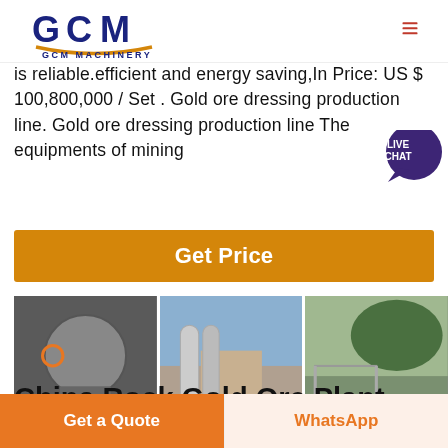[Figure (logo): GCM Machinery logo with blue stylized letters and orange underline, text 'GCM MACHINERY' below]
is reliable.efficient and energy saving,In Price: US $ 100,800,000 / Set . Gold ore dressing production line. Gold ore dressing production line The equipments of mining
Get Price
[Figure (photo): Three photos of GCM Machinery mining equipment: left shows a crushing machine, center shows industrial plant with silos, right shows outdoor mining equipment. Each photo has GCM and GCM MACHINERY watermarks.]
China Rock Gold Ore Plant Equipment Machinery China Ro...
Get a Quote
WhatsApp